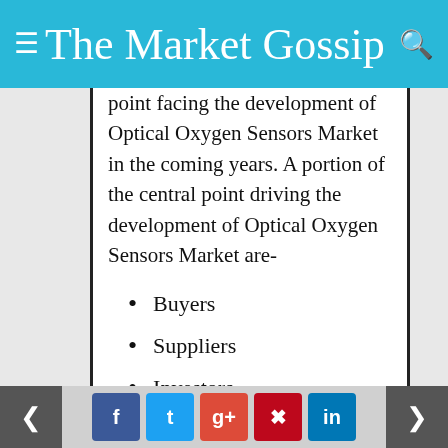The Market Gossip
point facing the development of Optical Oxygen Sensors Market in the coming years. A portion of the central point driving the development of Optical Oxygen Sensors Market are-
Buyers
Suppliers
Investors
End User Industry
Optical Oxygen Sensors Market Regional Analysis Includes:
Social share buttons and navigation